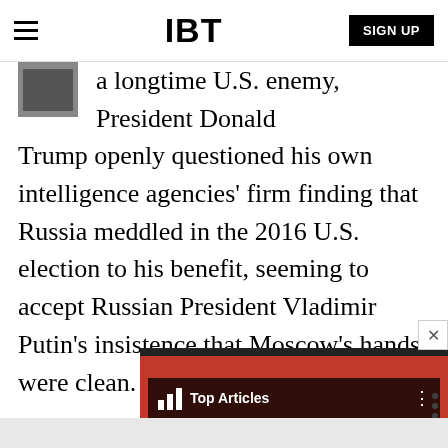IBT
a longtime U.S. enemy, President Donald Trump openly questioned his own intelligence agencies' firm finding that Russia meddled in the 2016 U.S. election to his benefit, seeming to accept Russian President Vladimir Putin's insistence that Moscow's hands were clean.
[Figure (screenshot): An ad widget showing 'Top Articles' overlay with text 'NewSpiderGenus,Se...' over a colorful image resembling David Bowie artwork with cosmic bubbles]